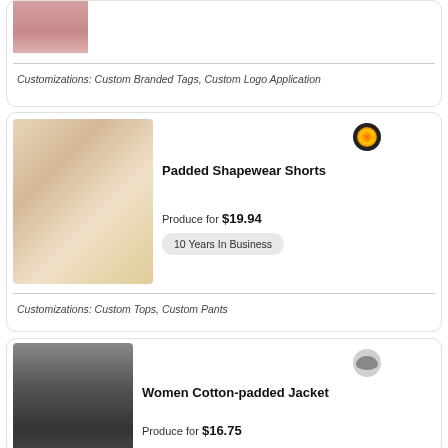[Figure (photo): Partial product image of shapewear/bodywear item at top of page]
Customizations: Custom Branded Tags, Custom Logo Application
[Figure (photo): Woman wearing padded shapewear shorts in beige/nude color]
[Figure (logo): Circular dark logo with orange/red/yellow design]
Padded Shapewear Shorts
Produce for $19.94
10 Years In Business
Customizations: Custom Tops, Custom Pants
[Figure (photo): Woman wearing black cotton-padded jacket]
[Figure (logo): Circular light grey logo]
Women Cotton-padded Jacket
Produce for $16.75